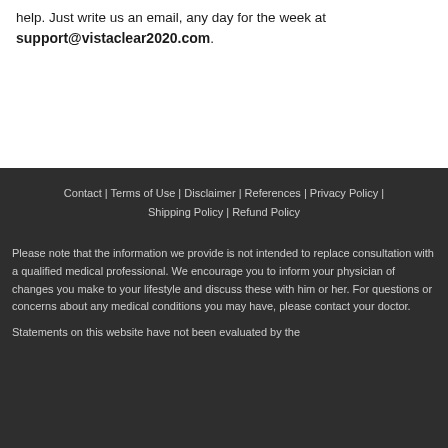help. Just write us an email, any day for the week at support@vistaclear2020.com.
Contact | Terms of Use | Disclaimer | References | Privacy Policy | Shipping Policy | Refund Policy
Please note that the information we provide is not intended to replace consultation with a qualified medical professional. We encourage you to inform your physician of changes you make to your lifestyle and discuss these with him or her. For questions or concerns about any medical conditions you may have, please contact your doctor.
Statements on this website have not been evaluated by the